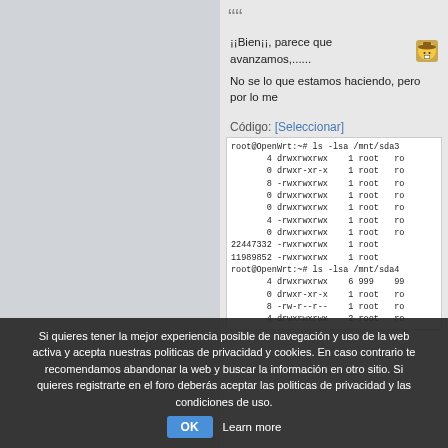¡¡Bien¡¡, parece que avanzamos,......
No se lo que estamos haciendo, pero por lo me
Código: [Seleccionar]
root@OpenWrt:~# ls -lsa /mnt/sda3
4 drwxrwxrwx 1 root ro
0 drwxr-xr-x 1 root ro
8 -rwxrwxrwx 1 root ro
0 drwxrwxrwx 1 root ro
0 drwxrwxrwx 1 root ro
4 -rwxrwxrwx 1 root ro
0 drwxrwxrwx 1 root ro
22447332 -rwxrwxrwx 1 root
11989852 -rwxrwxrwx 1 root
root@OpenWrt:~# ls -lsa /mnt/sda4
4 drwxrwxrwx 6 999 99
0 drwxr-xr-x 1 root ro
8 -rw-r--r-- 1 root ro
4 drwxrwxrwx 2 root ro
Pues sinceramente, no sé por qué no fu
Si quieres tener la mejor experiencia posible de navegación y uso de la web activa y acepta nuestras politicas de privacidad y cookies. En caso contrario te recomendamos abandonar la web y buscar la información en otro sitio. Si quieres registrarte en el foro deberás aceptar las politicas de privacidad y las condiciones de uso.